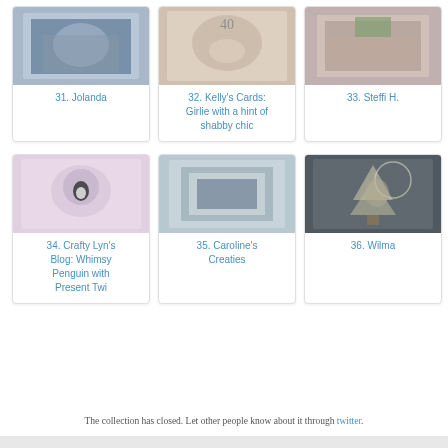[Figure (photo): Card image for entry 31 Jolanda]
31. Jolanda
[Figure (photo): Card image for entry 32 Kelly's Cards: Girlie with a hint of shabby chic]
32. Kelly's Cards: Girlie with a hint of shabby chic
[Figure (photo): Card image for entry 33 Steffi H.]
33. Steffi H.
[Figure (photo): Card image for entry 34 Crafty Lyn's Blog: Whimsy Penguin with Present Twi]
34. Crafty Lyn's Blog: Whimsy Penguin with Present Twi
[Figure (photo): Card image for entry 35 Caroline's Creaties]
35. Caroline's Creaties
[Figure (photo): Card image for entry 36 Wilma]
36. Wilma
The collection has closed. Let other people know about it through twitter.